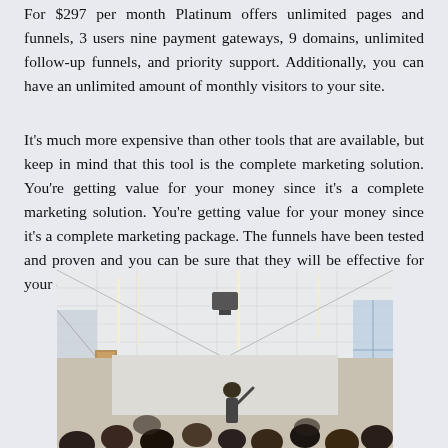For $297 per month Platinum offers unlimited pages and funnels, 3 users nine payment gateways, 9 domains, unlimited follow-up funnels, and priority support. Additionally, you can have an unlimited amount of monthly visitors to your site.
It's much more expensive than other tools that are available, but keep in mind that this tool is the complete marketing solution. You're getting value for your money since it's a complete marketing package. The funnels have been tested and proven and you can be sure that they will be effective for your company.
[Figure (photo): A classroom or conference room scene viewed from behind, showing attendees seated and one person standing at the front apparently presenting. The room has a dropped ceiling with recessed lighting strips, a glass partition wall on the left, windows on the right, and a projector or monitor mounted on the ceiling.]